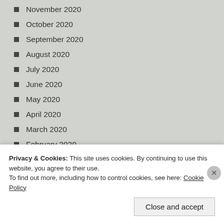November 2020
October 2020
September 2020
August 2020
July 2020
June 2020
May 2020
April 2020
March 2020
February 2020
January 2020
Privacy & Cookies: This site uses cookies. By continuing to use this website, you agree to their use.
To find out more, including how to control cookies, see here: Cookie Policy
Close and accept